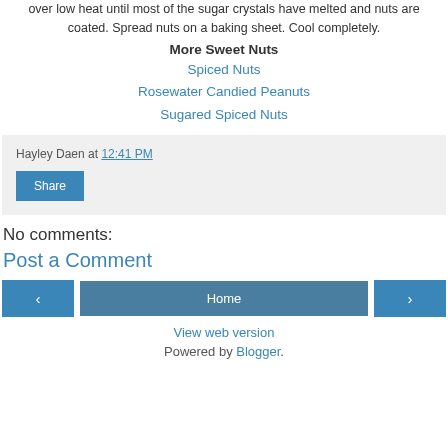over low heat until most of the sugar crystals have melted and nuts are coated. Spread nuts on a baking sheet. Cool completely.
More Sweet Nuts
Spiced Nuts
Rosewater Candied Peanuts
Sugared Spiced Nuts
Hayley Daen at 12:41 PM
Share
No comments:
Post a Comment
‹ Home › View web version Powered by Blogger.